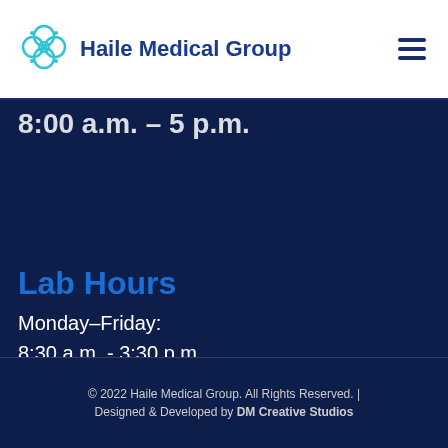Haile Medical Group
8:00 a.m. - 5 p.m.
Lab Hours
Monday-Friday:
8:30 a.m. - 3:30 p.m.
© 2022 Haile Medical Group. All Rights Reserved. | Designed & Developed by DM Creative Studios